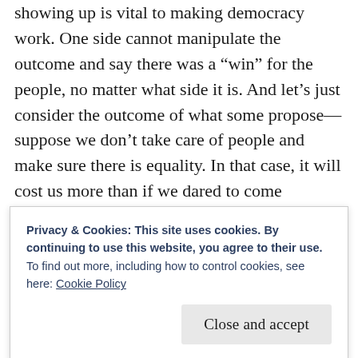showing up is vital to making democracy work. One side cannot manipulate the outcome and say there was a “win” for the people, no matter what side it is. And let’s just consider the outcome of what some propose—suppose we don’t take care of people and make sure there is equality. In that case, it will cost us more than if we dared to come together and consider a different perspective and holistic solutions. We can find ways forward and can afford to make them happen. We just have to want to do it. We are more powerful than ever
Privacy & Cookies: This site uses cookies. By continuing to use this website, you agree to their use.
To find out more, including how to control cookies, see here: Cookie Policy
Close and accept
The year 2020 begins a new decade and a new era. We have an opportunity to create that more